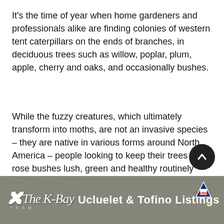It's the time of year when home gardeners and professionals alike are finding colonies of western tent caterpillars on the ends of branches, in deciduous trees such as willow, poplar, plum, apple, cherry and oaks, and occasionally bushes.
While the fuzzy creatures, which ultimately transform into moths, are not an invasive species – they are native in various forms around North America – people looking to keep their trees and rose bushes lush, green and healthy routinely take steps to get rid of the voracious, leaf-eating caterpillars.
Glenn Harris, senior manager of environmental protection
[Figure (other): Advertisement banner for Ucluelet & Tofino Listings real estate with logo and RE/MAX badge]